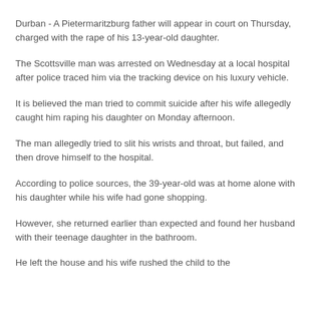Durban - A Pietermaritzburg father will appear in court on Thursday, charged with the rape of his 13-year-old daughter.
The Scottsville man was arrested on Wednesday at a local hospital after police traced him via the tracking device on his luxury vehicle.
It is believed the man tried to commit suicide after his wife allegedly caught him raping his daughter on Monday afternoon.
The man allegedly tried to slit his wrists and throat, but failed, and then drove himself to the hospital.
According to police sources, the 39-year-old was at home alone with his daughter while his wife had gone shopping.
However, she returned earlier than expected and found her husband with their teenage daughter in the bathroom.
He left the house and his wife rushed the child to the